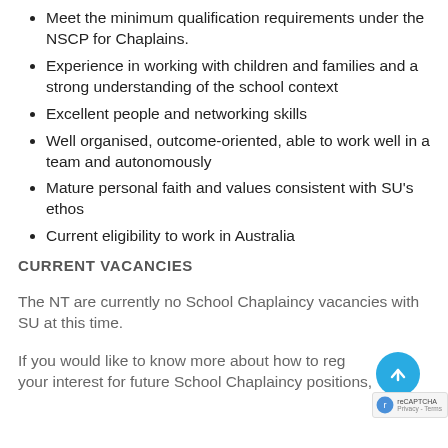Meet the minimum qualification requirements under the NSCP for Chaplains.
Experience in working with children and families and a strong understanding of the school context
Excellent people and networking skills
Well organised, outcome-oriented, able to work well in a team and autonomously
Mature personal faith and values consistent with SU's ethos
Current eligibility to work in Australia
CURRENT VACANCIES
The NT are currently no School Chaplaincy vacancies with SU at this time.
If you would like to know more about how to register your interest for future School Chaplaincy positions,